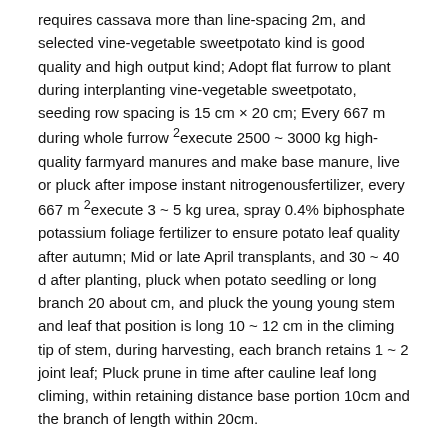requires cassava more than line-spacing 2m, and selected vine-vegetable sweetpotato kind is good quality and high output kind; Adopt flat furrow to plant during interplanting vine-vegetable sweetpotato, seeding row spacing is 15 cm × 20 cm; Every 667 m during whole furrow 2execute 2500 ~ 3000 kg high-quality farmyard manures and make base manure, live or pluck after impose instant nitrogenousfertilizer, every 667 m 2execute 3 ~ 5 kg urea, spray 0.4% biphosphate potassium foliage fertilizer to ensure potato leaf quality after autumn; Mid or late April transplants, and 30 ~ 40 d after planting, pluck when potato seedling or long branch 20 about cm, and pluck the young young stem and leaf that position is long 10 ~ 12 cm in the climing tip of stem, during harvesting, each branch retains 1 ~ 2 joint leaf; Pluck prune in time after cauline leaf long climing, within retaining distance base portion 10cm and the branch of length within 20cm.
The principle of foundation of the present invention is: (1) Sweet Potato crawls to overgrow or half upright, and root system is generally distributed in 30 cm soil layers, interplants in cassava planting site, and cassava can